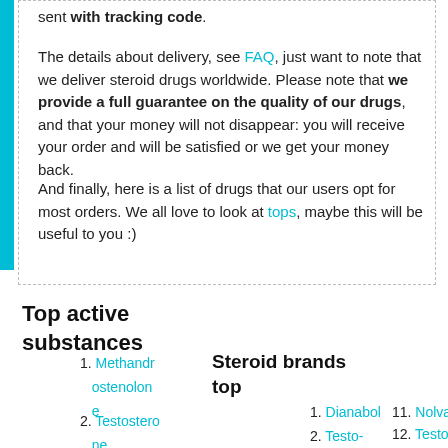sent with tracking code.
The details about delivery, see FAQ, just want to note that we deliver steroid drugs worldwide. Please note that we provide a full guarantee on the quality of our drugs, and that your money will not disappear: you will receive your order and will be satisfied or we get your money back.
And finally, here is a list of drugs that our users opt for most orders. We all love to look at tops, maybe this will be useful to you :)
Top active substances
Steroid brands top
1. Methandrostenolone
2. Testosterone Cypionate
1. Dianabol
2. Testo-Susp
11. Nolvadex
12. Testosterone Cypionate